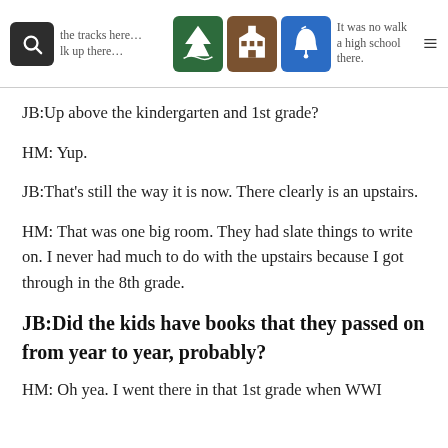the tracks here… It was no walk … lk up there… a high school there.
JB:Up above the kindergarten and 1st grade?
HM: Yup.
JB:That's still the way it is now. There clearly is an upstairs.
HM: That was one big room. They had slate things to write on. I never had much to do with the upstairs because I got through in the 8th grade.
JB:Did the kids have books that they passed on from year to year, probably?
HM: Oh yea. I went there in that 1st grade when WWI